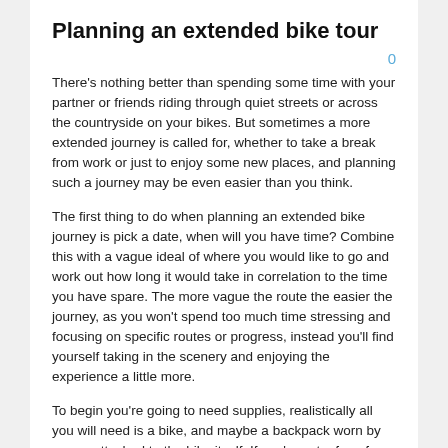Planning an extended bike tour
0
There's nothing better than spending some time with your partner or friends riding through quiet streets or across the countryside on your bikes. But sometimes a more extended journey is called for, whether to take a break from work or just to enjoy some new places, and planning such a journey may be even easier than you think.
The first thing to do when planning an extended bike journey is pick a date, when will you have time? Combine this with a vague ideal of where you would like to go and work out how long it would take in correlation to the time you have spare. The more vague the route the easier the journey, as you won't spend too much time stressing and focusing on specific routes or progress, instead you'll find yourself taking in the scenery and enjoying the experience a little more.
To begin you're going to need supplies, realistically all you will need is a bike, and maybe a backpack worn by you or attached to the bike itself. If you're not a fan of sleeping under the stars and can't afford multiple hotels or bed and breakfasts a tent may be a good idea too, but this is the most you will need, other than food